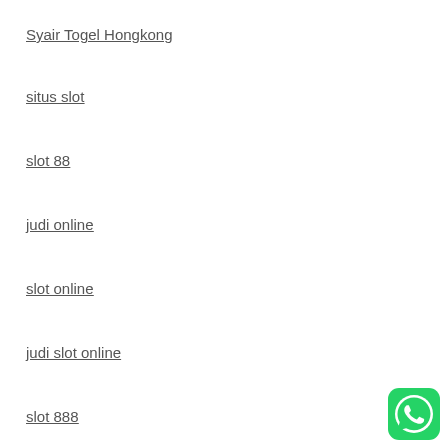Syair Togel Hongkong
situs slot
slot 88
judi online
slot online
judi slot online
slot 888
[Figure (logo): WhatsApp green logo button in bottom right corner]